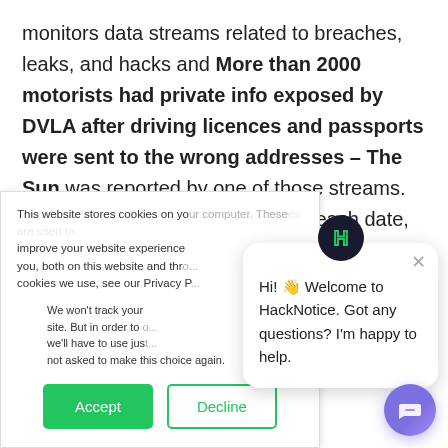monitors data streams related to breaches, leaks, and hacks and More than 2000 motorists had private info exposed by DVLA after driving licences and passports were sent to the wrong addresses – The Sun was reported by one of those streams. HackNotice may also have the breach date, hack date, the hacker responsible, the hacked industry, the hacked location, and any other parts of the hack, breach, or leak that
This website stores cookies on your computer. These are used to improve your website experience you, both on this website and through cookies we use, see our Privacy P...
We won't track your site. But in order to o we'll have to use jus not asked to make this choice again.
[Figure (other): Cookie consent dialog with Accept (green) and Decline (outlined) buttons]
[Figure (other): HackNotice chat popup with logo and welcome message: Hi! Welcome to HackNotice. Got any questions? I'm happy to help.]